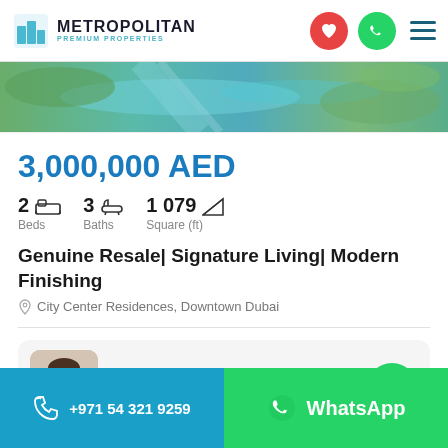Metropolitan Premium Properties
[Figure (photo): Aerial view of a coastal or waterway area with green vegetation and turquoise water, used as a banner image for property listing]
3,000,000 AED
2 Beds  3 Baths  1 079 Square (ft)
Genuine Resale| Signature Living| Modern Finishing
City Center Residences, Downtown Dubai
Listing b  Go to Map  Svetlana Vasilieva
+971 54 321 9259  WhatsApp